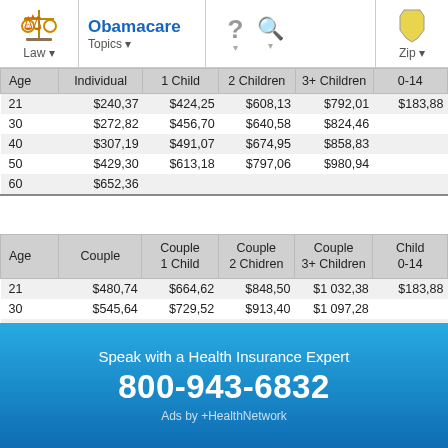Obamacare | Law | Topics | Zip
| Age | Individual | 1 Child | 2 Children | 3+ Children | 0-14 |
| --- | --- | --- | --- | --- | --- |
| 21 | $240,37 | $424,25 | $608,13 | $792,01 | $183,88 |
| 30 | $272,82 | $456,70 | $640,58 | $824,46 |  |
| 40 | $307,19 | $491,07 | $674,95 | $858,83 |  |
| 50 | $429,30 | $613,18 | $797,06 | $980,94 |  |
| 60 | $652,36 |  |  |  |  |
| Age | Couple | Couple
1 Child | Couple
2 Chidren | Couple
3+ Children | Child
0-14 |
| --- | --- | --- | --- | --- | --- |
| 21 | $480,74 | $664,62 | $848,50 | $1 032,38 | $183,88 |
| 30 | $545,64 | $729,52 | $913,40 | $1 097,28 |  |
| 40 | $614,38 | $798,26 | $982,14 | $1 166,02 |  |
| 50 | $858,60 | $1 042,48 | $1 226,36 | $1 410,24 |  |
| 60 | $1 304,72 |  |  |  |  |
Speak with a Health Insurance Expert
800-943-6832
Ads by +HealthNetwork